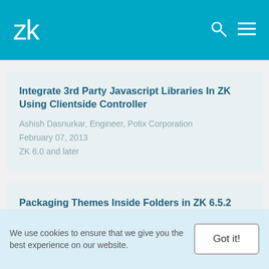ZK
Integrate 3rd Party Javascript Libraries In ZK Using Clientside Controller
Ashish Dasnurkar, Engineer, Potix Corporation
February 07, 2013
ZK 6.0 and later
Packaging Themes Inside Folders in ZK 6.5.2
Neil Lee, Engineer, Potix Corporation
January 15, 2013
We use cookies to ensure that we give you the best experience on our website.